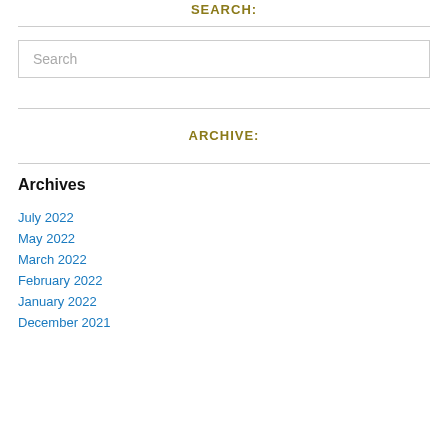SEARCH:
Search
ARCHIVE:
Archives
July 2022
May 2022
March 2022
February 2022
January 2022
December 2021